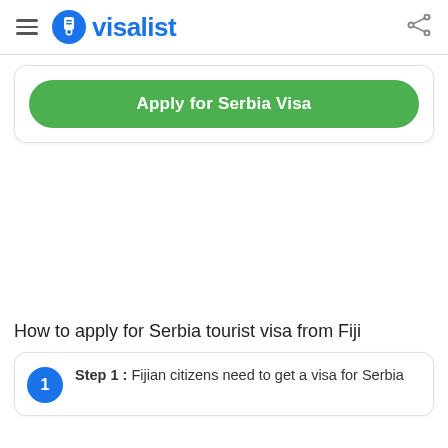visalist
Apply for Serbia Visa
How to apply for Serbia tourist visa from Fiji
Step 1 : Fijian citizens need to get a visa for Serbia